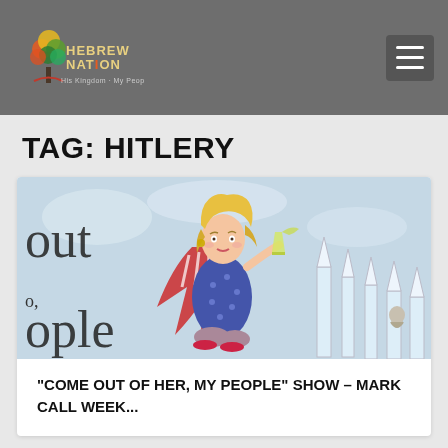Hebrew Nation
TAG: HITLERY
[Figure (illustration): Hand-drawn illustration of a caricature of a blonde woman in a blue polka-dot dress with an American flag cape, holding a drinking glass, with architectural elements in the background. Partial text 'out' and 'ople' visible on left side.]
“COME OUT OF HER, MY PEOPLE” SHOW – MARK CALL WEEK...